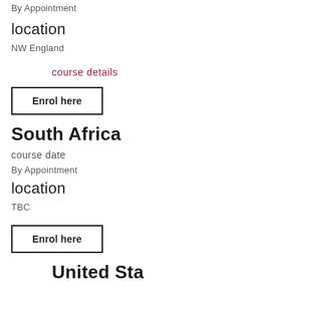By Appointment
location
NW England
course details
Enrol here
South Africa
course date
By Appointment
location
TBC
Enrol here
United Sta...